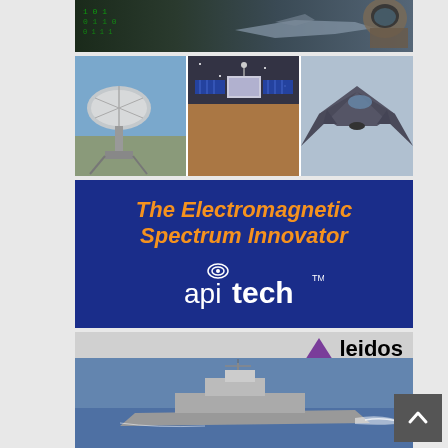[Figure (photo): Fighter pilot in cockpit with aircraft in background, overlaid with digital data imagery]
[Figure (photo): Three panel image: radar dish antenna on left, satellite in space center, stealth fighter jet on right]
[Figure (infographic): API Tech advertisement banner: dark blue background with orange bold italic text 'The Electromagnetic Spectrum Innovator' and white apitech logo with TM mark]
[Figure (photo): Leidos advertisement: logo with purple triangle and 'leidos' text, below is a naval vessel at sea]
[Figure (illustration): Scroll-to-top button, dark gray with upward chevron arrow]